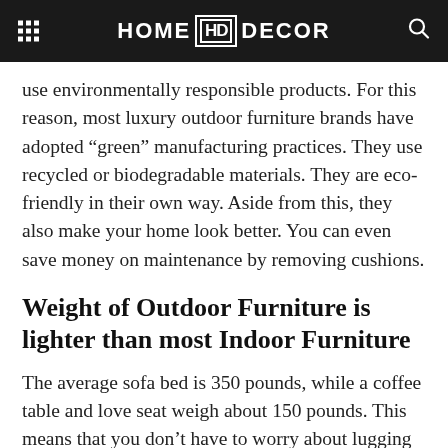HOME HD DECOR
use environmentally responsible products. For this reason, most luxury outdoor furniture brands have adopted “green” manufacturing practices. They use recycled or biodegradable materials. They are eco-friendly in their own way. Aside from this, they also make your home look better. You can even save money on maintenance by removing cushions.
Weight of Outdoor Furniture is lighter than most Indoor Furniture
The average sofa bed is 350 pounds, while a coffee table and love seat weigh about 150 pounds. This means that you don’t have to worry about lugging heavy items indoors. Because outdoor furniture is